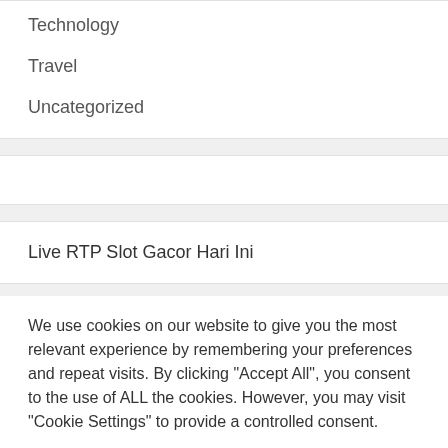Technology
Travel
Uncategorized
Live RTP Slot Gacor Hari Ini
We use cookies on our website to give you the most relevant experience by remembering your preferences and repeat visits. By clicking "Accept All", you consent to the use of ALL the cookies. However, you may visit "Cookie Settings" to provide a controlled consent.
Cookie Settings | Accept All